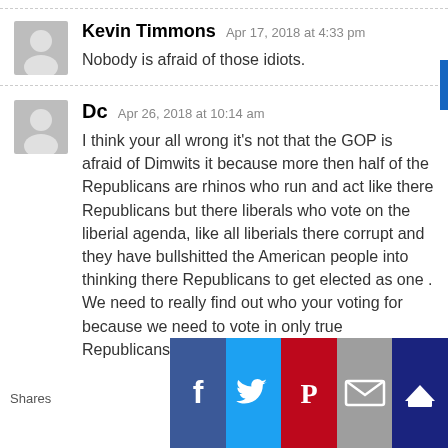Kevin Timmons Apr 17, 2018 at 4:33 pm
Nobody is afraid of those idiots.
Dc Apr 26, 2018 at 10:14 am
I think your all wrong it's not that the GOP is afraid of Dimwits it because more then half of the Republicans are rhinos who run and act like there Republicans but there liberals who vote on the liberial agenda, like all liberials there corrupt and they have bullshitted the American people into thinking there Republicans to get elected as one .
We need to really find out who your voting for because we need to vote in only true Republicans not one that acts like one to get
[Figure (infographic): Social share buttons row: Facebook, Twitter, Pinterest, Email, and a fifth button. A 'Shares' label on the left.]